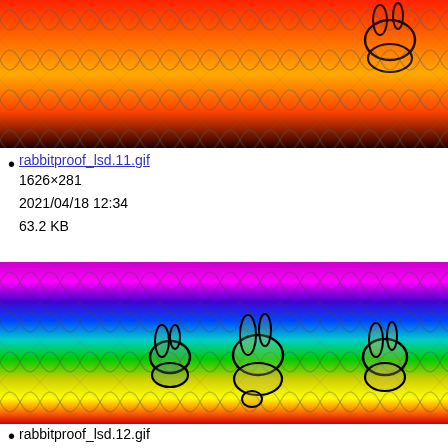[Figure (photo): Rainbow gradient image with chain-link fence pattern overlay and bunny outlines visible at top right, cropped at top of page]
rabbitproof_lsd.11.gif
1626×281
2021/04/18 12:34
63.2 KB
[Figure (photo): Rainbow gradient image with chain-link fence pattern overlay and bunny outlines visible. Gradient runs pink/magenta at top through blue, cyan, green, yellow to red at bottom. Multiple rabbit silhouettes outlined in black visible.]
rabbitproof_lsd.12.gif